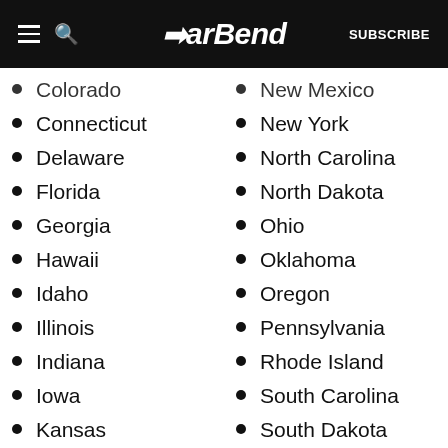BarBend — SUBSCRIBE
Colorado
Connecticut
Delaware
Florida
Georgia
Hawaii
Idaho
Illinois
Indiana
Iowa
Kansas
Kentucky
Louisiana
Maine
Maryland
New Mexico
New York
North Carolina
North Dakota
Ohio
Oklahoma
Oregon
Pennsylvania
Rhode Island
South Carolina
South Dakota
Tennessee
Texas
Utah
Vermont